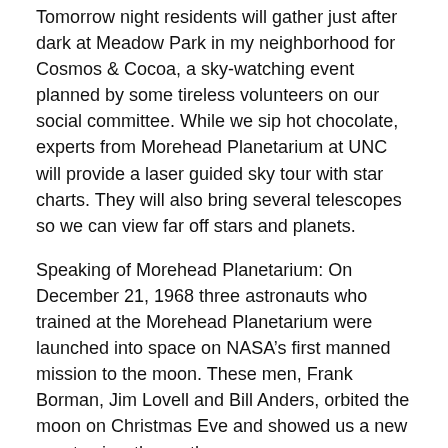Tomorrow night residents will gather just after dark at Meadow Park in my neighborhood for Cosmos & Cocoa, a sky-watching event planned by some tireless volunteers on our social committee. While we sip hot chocolate, experts from Morehead Planetarium at UNC will provide a laser guided sky tour with star charts. They will also bring several telescopes so we can view far off stars and planets.
Speaking of Morehead Planetarium: On December 21, 1968 three astronauts who trained at the Morehead Planetarium were launched into space on NASA's first manned mission to the moon. These men, Frank Borman, Jim Lovell and Bill Anders, orbited the moon on Christmas Eve and showed us a new way to view the earth.
Happy Solstice!